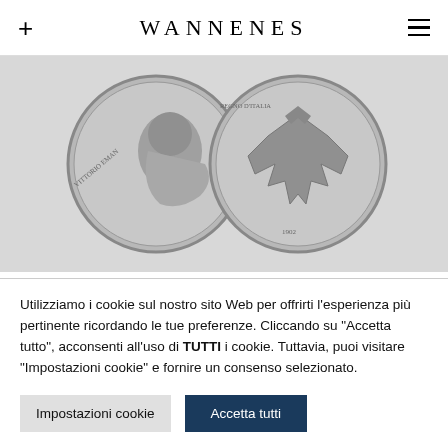WANNENES
[Figure (photo): Two sides of an Italian silver coin: obverse showing portrait of Vittorio Emanuele III, reverse showing the eagle of the Kingdom of Italy, dated 1902]
1543
Utilizziamo i cookie sul nostro sito Web per offrirti l'esperienza più pertinente ricordando le tue preferenze. Cliccando su "Accetta tutto", acconsenti all'uso di TUTTI i cookie. Tuttavia, puoi visitare "Impostazioni cookie" e fornire un consenso selezionato.
Impostazioni cookie | Accetta tutti